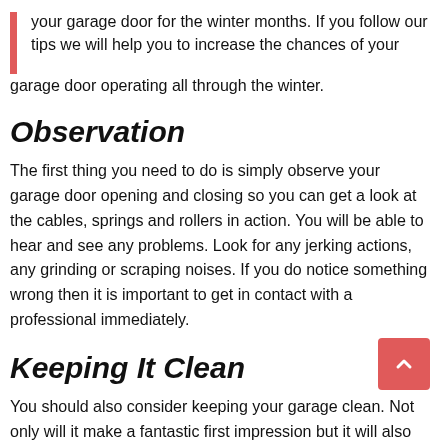your garage door for the winter months. If you follow our tips we will help you to increase the chances of your garage door operating all through the winter.
Observation
The first thing you need to do is simply observe your garage door opening and closing so you can get a look at the cables, springs and rollers in action. You will be able to hear and see any problems. Look for any jerking actions, any grinding or scraping noises. If you do notice something wrong then it is important to get in contact with a professional immediately.
Keeping It Clean
You should also consider keeping your garage clean. Not only will it make a fantastic first impression but it will also play a huge role in keeping your home safe and secure. Wooden doors will always need